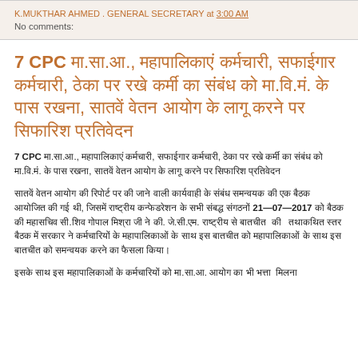K.MUKTHAR AHMED . GENERAL SECRETARY at 3:00 AM
No comments:
7 CPC मा.सा.आ., महापालिकाएं कर्मचारी, सफाईगार कर्मचारी, ठेका पर रखे कर्मी का संबंध को मा.वि.मं. के पास रखना, सातवें वेतन आयोग के लागू करने पर सिफारिश प्रतिवेदन
7 CPC मा.सा.आ., महापालिकाएं कर्मचारी, सफाईगार कर्मचारी, ठेका पर रखे कर्मी का संबंध को मा.वि.मं. के पास रखना, सातवें वेतन आयोग के लागू करने पर सिफारिश प्रतिवेदन
सातवें वेतन आयोग की रिपोर्ट पर की जाने वाली कार्यवाही के संबंध समन्वयक की एक बैठक आयोजित की गई थी, जिसमें राष्ट्रीय कन्फेडरेशन के सभी संबद्ध संगठनों 21—07—2017 को बैठक की महासचिव सी.शिव गोपाल मिश्रा जी ने की. जे.सी.एम. राष्ट्रीय से बातचीत  की   तथाकथित स्तर बैठक में सरकार ने कर्मचारियों के महापालिकाओं के साथ इस बातचीत को समन्वयक करने का फैसला किया।
इसके साथ इस महापालिकाओं के कर्मचारियों को मा.सा.आ. आयोग का भी भत्ता  मिलना